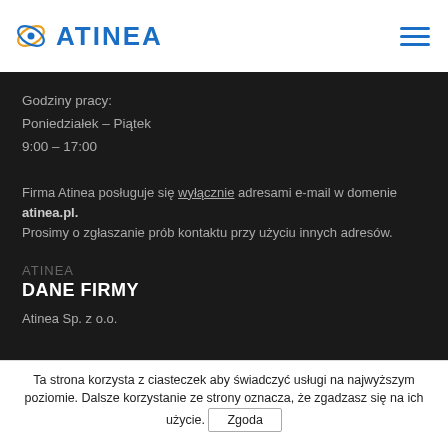ATINEA
Godziny pracy:
Poniedziałek – Piątek
9:00 – 17:00
Firma Atinea posługuje się wyłącznie adresami e-mail w domenie atinea.pl. Prosimy o zgłaszanie prób kontaktu przy użyciu innych adresów.
ATINEA
DANE FIRMY
Atinea Sp. z o.o.
Ta strona korzysta z ciasteczek aby świadczyć usługi na najwyższym poziomie. Dalsze korzystanie ze strony oznacza, że zgadzasz się na ich użycie. Zgoda